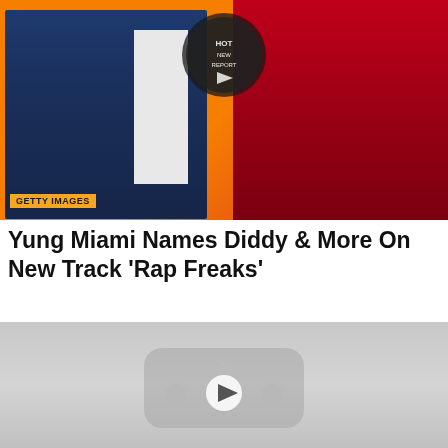[Figure (photo): Photo of two people side by side against an orange background. Left person wearing a blue suit with white shirt. Right person wearing a red/crimson outfit. Getty Images badge visible at bottom left. A circular logo/watermark visible at top center.]
Yung Miami Names Diddy & More On New Track 'Rap Freaks'
[Figure (screenshot): Video player placeholder with gray background showing a YouTube-style play button icon in the center.]